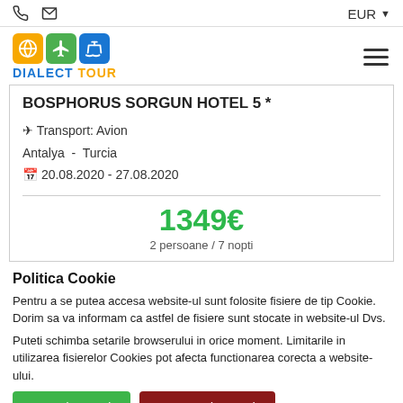EUR
BOSPHORUS SORGUN HOTEL 5 *
Transport: Avion
Antalya - Turcia
20.08.2020 - 27.08.2020
1349€
2 persoane / 7 nopti
Politica Cookie
Pentru a se putea accesa website-ul sunt folosite fisiere de tip Cookie. Dorim sa va informam ca astfel de fisiere sunt stocate in website-ul Dvs.
Puteti schimba setarile browserului in orice moment. Limitarile in utilizarea fisierelor Cookies pot afecta functionarea corecta a website-ului.
Sunt de acord
Nu sunt de acord